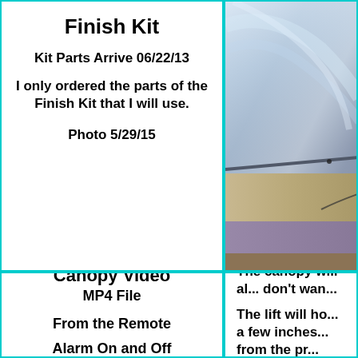Finish Kit
Kit Parts Arrive 06/22/13
I only ordered the parts of the Finish Kit that I will use.
Photo 5/29/15
[Figure (photo): Photo of aircraft canopy area showing metallic surface, wiring, and interior components taken 5/29/15]
Canopy Video
MP4 File

From the Remote

Alarm On and Off
The canopy will al... don't wan...

The lift will ho... a few inches... from the pr...